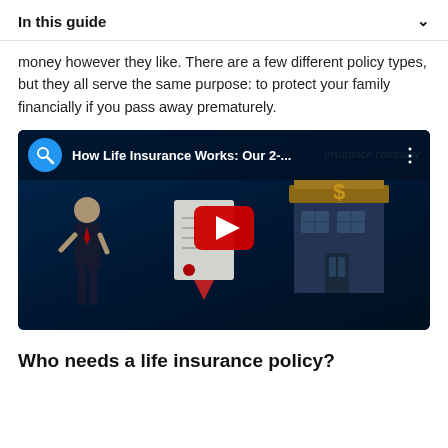In this guide
money however they like. There are a few different policy types, but they all serve the same purpose: to protect your family financially if you pass away prematurely.
[Figure (screenshot): YouTube video thumbnail showing 'How Life Insurance Works: Our 2-...' with a play button, animated characters of a person in a suit, a document, and a building representing an insurance company on a dark blue background.]
Who needs a life insurance policy?